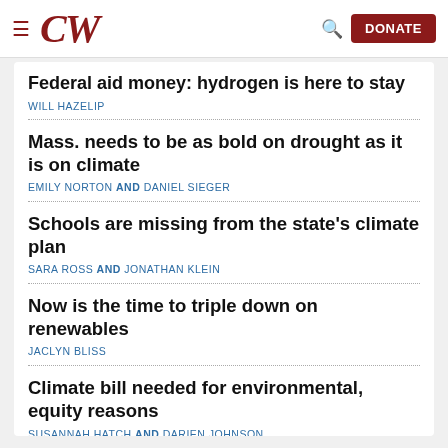CW — DONATE
Federal aid money: hydrogen is here to stay
WILL HAZELIP
Mass. needs to be as bold on drought as it is on climate
EMILY NORTON AND DANIEL SIEGER
Schools are missing from the state's climate plan
SARA ROSS AND JONATHAN KLEIN
Now is the time to triple down on renewables
JACLYN BLISS
Climate bill needed for environmental, equity reasons
SUSANNAH HATCH AND DARIEN JOHNSON
See all »